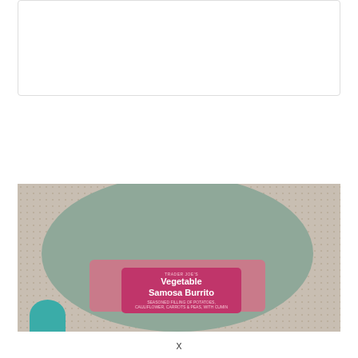Cream Review
[Figure (photo): A Trader Joe's Vegetable Samosa Burrito in its pink packaging, placed on a round sage-green plate, on a woven mat background. A teal circular avatar partially visible in the bottom-left corner.]
x